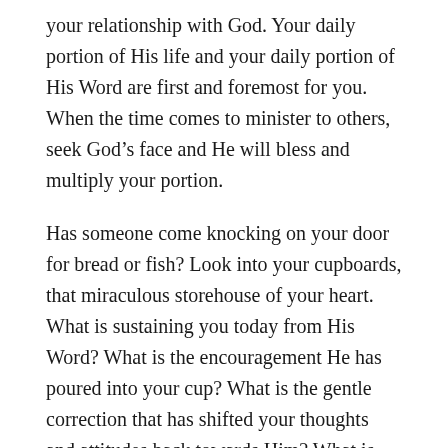your relationship with God. Your daily portion of His life and your daily portion of His Word are first and foremost for you. When the time comes to minister to others, seek God’s face and He will bless and multiply your portion.
Has someone come knocking on your door for bread or fish? Look into your cupboards, that miraculous storehouse of your heart. What is sustaining you today from His Word? What is the encouragement He has poured into your cup? What is the gentle correction that has shifted your thoughts and attitudes back towards Him? What is the revelation that you see bubbling forth from His Spirit at this hour?